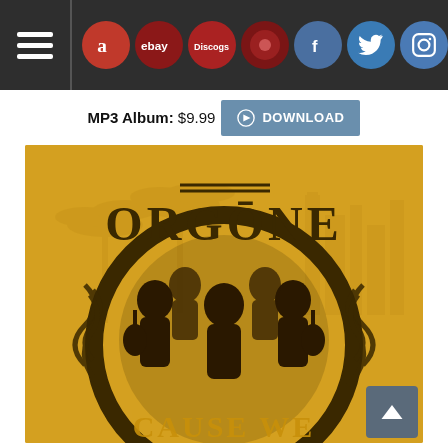Navigation bar with hamburger menu and social/store icons: Amazon, eBay, Discogs, RateYourMusic, Facebook, Twitter, Instagram, Email
MP3 Album: $9.99  DOWNLOAD
[Figure (photo): Orgone band album art on golden/yellow background with palm trees silhouette and city skyline. Dark ornamental circular design surrounds band members playing instruments. Band name ORGONE in dark retro lettering at top. Bottom text partially visible reading 'CAUSE WE...'.]